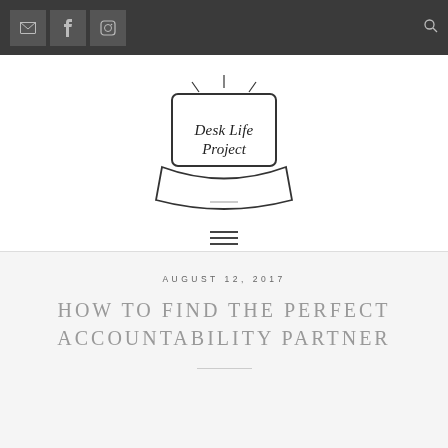Navigation bar with email, Facebook, Instagram icons and search icon
[Figure (logo): Desk Life Project logo: laptop illustration with shine lines and cursive text 'Desk Life Project' on screen]
[Figure (other): Hamburger menu icon with three horizontal lines]
AUGUST 12, 2017
HOW TO FIND THE PERFECT ACCOUNTABILITY PARTNER